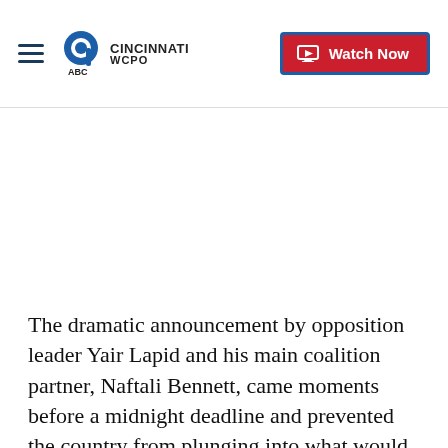WCPO 9 Cincinnati — Watch Now
The dramatic announcement by opposition leader Yair Lapid and his main coalition partner, Naftali Bennett, came moments before a midnight deadline and prevented the country from plunging into what would